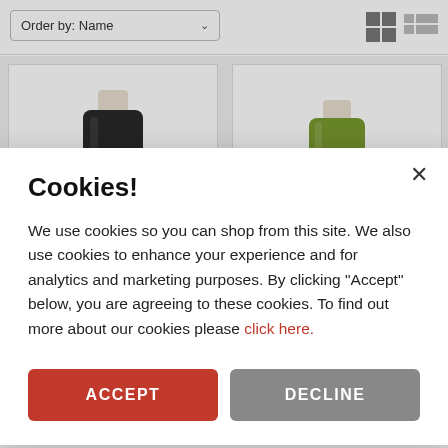[Figure (screenshot): E-commerce product listing page with Order by: Name dropdown and grid/list view icons, showing two paint bottles (Chalkboard Paint and Chalk Finish) partially visible behind a cookie consent modal]
Cookies!
We use cookies so you can shop from this site. We also use cookies to enhance your experience and for analytics and marketing purposes. By clicking "Accept" below, you are agreeing to these cookies. To find out more about our cookies please click here.